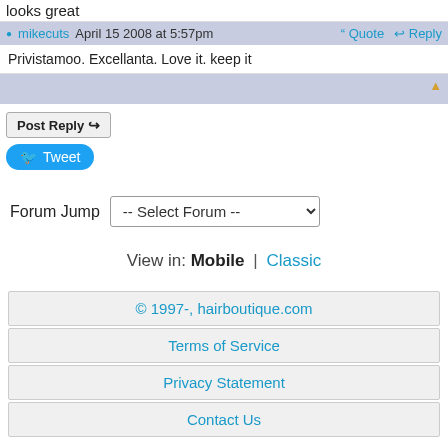looks great
mikecuts April 15 2008 at 5:57pm  Quote  Reply
Privistamoo. Excellanta. Love it. keep it
Post Reply
Tweet
Forum Jump  -- Select Forum --
View in: Mobile | Classic
© 1997-, hairboutique.com
Terms of Service
Privacy Statement
Contact Us